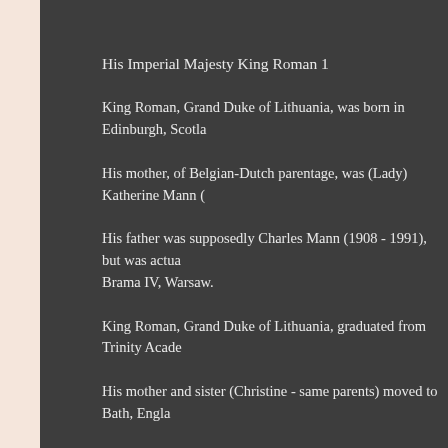His Imperial Majesty King Roman 1
King Roman, Grand Duke of Lithuania, was born in Edinburgh, Scotla…
His mother, of Belgian-Dutch parentage, was (Lady) Katherine Mann (…
His father was supposedly Charles Mann (1908 - 1991), but was actu… Brama IV, Warsaw.
King Roman, Grand Duke of Lithuania, graduated from Trinity Acade…
His mother and sister (Christine - same parents) moved to Bath, Engla…
Emigration to Australia
King Roman, Grand Duke of Lithuania, emigrated to Australia in Octo…
The following month Prince Roman 1 died at Gliwice, Poland - he was…